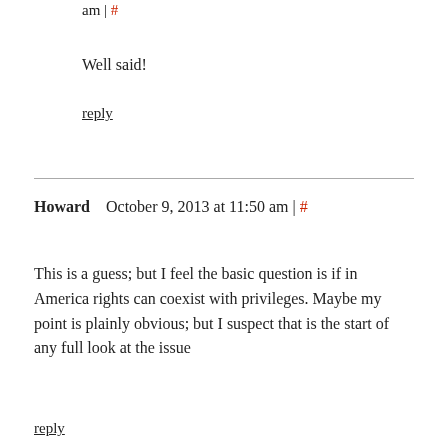am | #
Well said!
reply
Howard    October 9, 2013 at 11:50 am | #
This is a guess; but I feel the basic question is if in America rights can coexist with privileges. Maybe my point is plainly obvious; but I suspect that is the start of any full look at the issue
reply